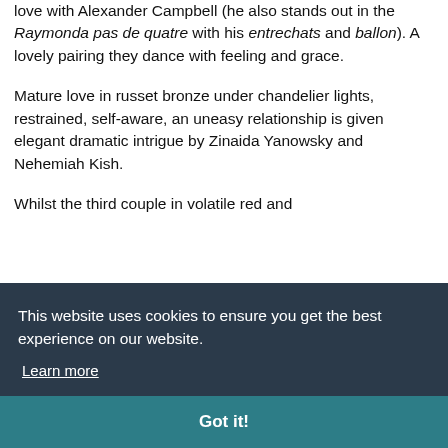love with Alexander Campbell (he also stands out in the Raymonda pas de quatre with his entrechats and ballon). A lovely pairing they dance with feeling and grace.
Mature love in russet bronze under chandelier lights, restrained, self-aware, an uneasy relationship is given elegant dramatic intrigue by Zinaida Yanowsky and Nehemiah Kish.
Whilst the third couple in volatile red and
This website uses cookies to ensure you get the best experience on our website. Learn more
Got it!